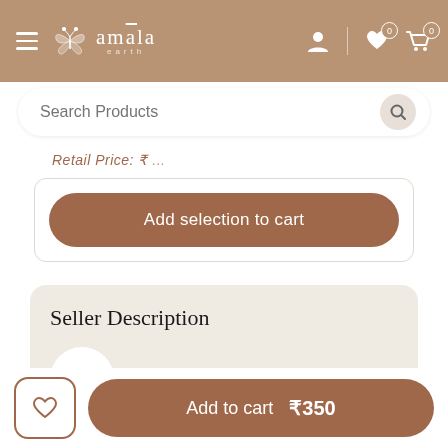[Figure (screenshot): Amala Earth e-commerce website navigation bar with hamburger menu, butterfly logo, brand name 'amala earth', user icon, wishlist icon (0), and cart icon (0)]
[Figure (screenshot): Search bar with placeholder text 'Search Products' and search button]
Retail Price: ₹/...
Add selection to cart
Seller Description
TREE WEAR
Add to cart  ₹350